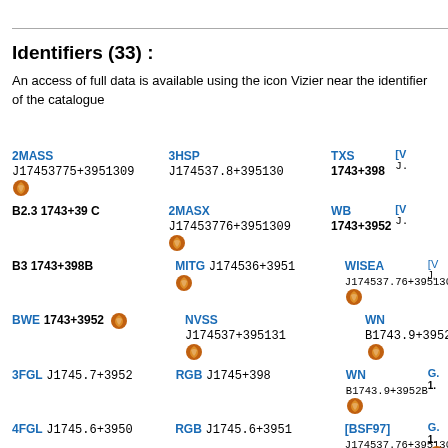Identifiers (33) :
An access of full data is available using the icon Vizier near the identifier of the catalogue
2MASS J17453775+3951309
3HSP J174537.8+395130
TXS 1743+398
B2.3 1743+39 C
2MASX J17453776+3951309
WB 1743+3952
B3 1743+398B
MITG J174536+3951
WISEA J174537.76+395130.7
BWE 1743+3952
NVSS J174537+395131
WN B1743.9+3952
3FGL J1745.7+3952
RGB J1745+398
WN B1743.9+3952B
4FGL J1745.6+3950
RGB J1745.6+3951
[BSF97] J174537.76+395130.8